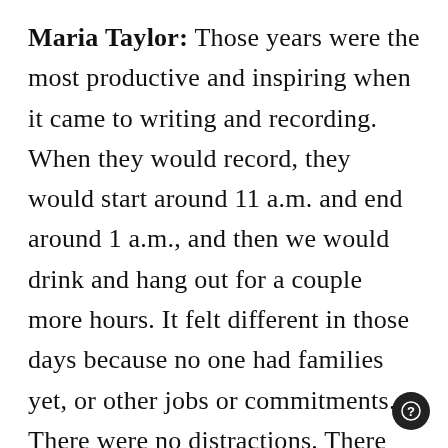Maria Taylor: Those years were the most productive and inspiring when it came to writing and recording. When they would record, they would start around 11 a.m. and end around 1 a.m., and then we would drink and hang out for a couple more hours. It felt different in those days because no one had families yet, or other jobs or commitments. There were no distractions. There was nowhere to go and nothing to do except record these songs. When Mogis shut off the lights and turned the alarm on, we all went straight to our beds